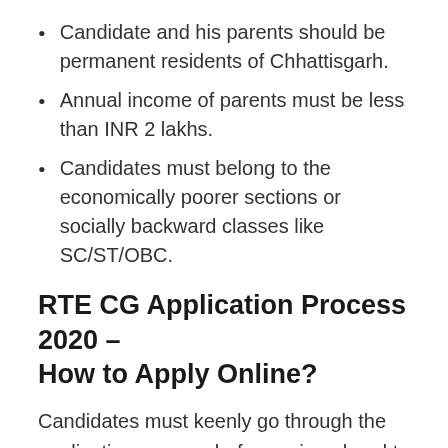Candidate and his parents should be permanent residents of Chhattisgarh.
Annual income of parents must be less than INR 2 lakhs.
Candidates must belong to the economically poorer sections or socially backward classes like SC/ST/OBC.
RTE CG Application Process 2020 – How to Apply Online?
Candidates must keenly go through the application process before going ahead to apply for admissions to RTE CG 2020-2021. Guidelines and instructions should be carefully noted down and followed. Candidates need to be well-aware.